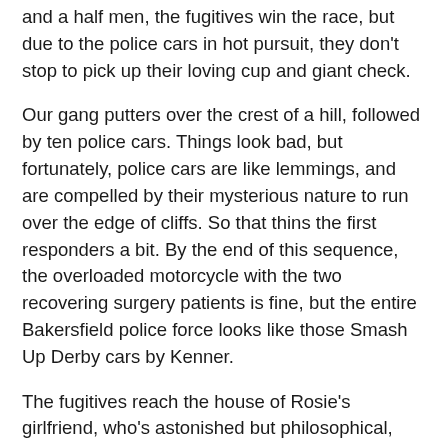and a half men, the fugitives win the race, but due to the police cars in hot pursuit, they don't stop to pick up their loving cup and giant check.
Our gang putters over the crest of a hill, followed by ten police cars. Things look bad, but fortunately, police cars are like lemmings, and are compelled by their mysterious nature to run over the edge of cliffs. So that thins the first responders a bit. By the end of this sequence, the overloaded motorcycle with the two recovering surgery patients is fine, but the entire Bakersfield police force looks like those Smash Up Derby cars by Kenner.
The fugitives reach the house of Rosie's girlfriend, who's astonished but philosophical, gazing at the old white head stitched to his shoulder and marveling, “You get into more shit…”
Rosie takes a nap, and Wigstand takes the opportunity to seize control of their body by slowly and excruciatingly doing that “here’s the church, here’s the steeple” thing. Unfortunately, it doesn’t last, and he can’t even summon the